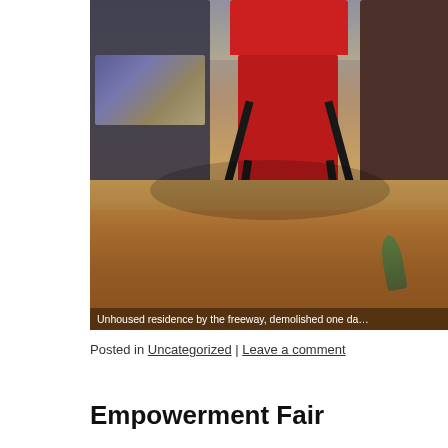[Figure (photo): Outdoor scene showing folding camp chairs — a red one in the center, a dark one on the right, and a dark one on the left — on a ground covered with dry leaves and dirt near a freeway. Caption reads: Unhoused residence by the freeway, demolished one da...]
Unhoused residence by the freeway, demolished one da...
Posted in Uncategorized | Leave a comment
Empowerment Fair